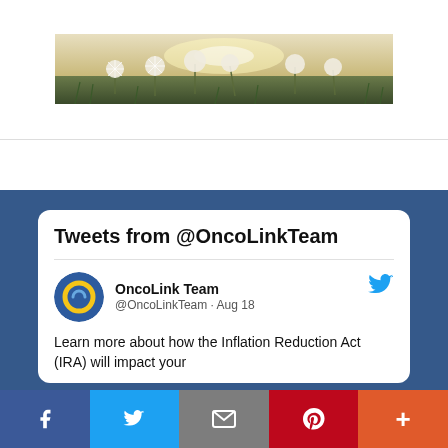[Figure (photo): Panoramic photo of dandelion flowers in a field with sunlight in the background, shown as a wide banner image at the top of the page]
Tweets from @OncoLinkTeam
OncoLink Team @OncoLinkTeam · Aug 18
Learn more about how the Inflation Reduction Act (IRA) will impact your